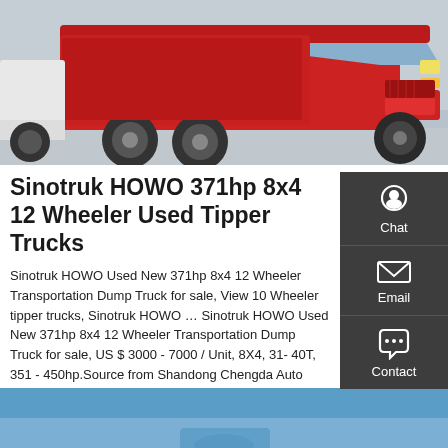[Figure (photo): Red Sinotruk HOWO dump truck front/side view photographed in a parking area, showing red cab, large wheels and tires, front bumper and grille detail.]
Sinotruk HOWO 371hp 8x4 12 Wheeler Used Tipper Trucks
Sinotruk HOWO Used New 371hp 8x4 12 Wheeler Transportation Dump Truck for sale, View 10 Wheeler tipper trucks, Sinotruk HOWO … Sinotruk HOWO Used New 371hp 8x4 12 Wheeler Transportation Dump Truck for sale, US $ 3000 - 7000 / Unit, 8X4, 31- 40T, 351 - 450hp.Source from Shandong Chengda Auto Sales Co., Ltd. on Alibaba.com. Get a Quote
GET A QUOTE
[Figure (photo): Partial view of another truck or vehicle, showing a blue sky background at the bottom of the page.]